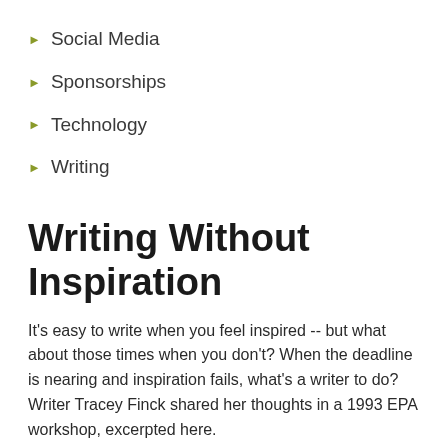Social Media
Sponsorships
Technology
Writing
Writing Without Inspiration
It's easy to write when you feel inspired -- but what about those times when you don't? When the deadline is nearing and inspiration fails, what's a writer to do? Writer Tracey Finck shared her thoughts in a 1993 EPA workshop, excerpted here.
The following is excerpted from a 1993 EPA workshop presented by writer Tracey Finck. The workshop, "Writing